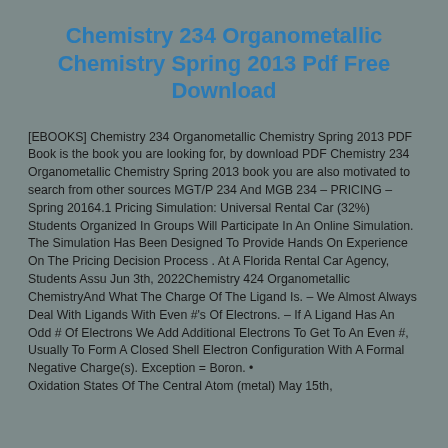Chemistry 234 Organometallic Chemistry Spring 2013 Pdf Free Download
[EBOOKS] Chemistry 234 Organometallic Chemistry Spring 2013 PDF Book is the book you are looking for, by download PDF Chemistry 234 Organometallic Chemistry Spring 2013 book you are also motivated to search from other sources MGT/P 234 And MGB 234 – PRICING – Spring 20164.1 Pricing Simulation: Universal Rental Car (32%) Students Organized In Groups Will Participate In An Online Simulation. The Simulation Has Been Designed To Provide Hands On Experience On The Pricing Decision Process . At A Florida Rental Car Agency, Students Assu Jun 3th, 2022Chemistry 424 Organometallic ChemistryAnd What The Charge Of The Ligand Is. – We Almost Always Deal With Ligands With Even #'s Of Electrons. – If A Ligand Has An Odd # Of Electrons We Add Additional Electrons To Get To An Even #, Usually To Form A Closed Shell Electron Configuration With A Formal Negative Charge(s). Exception = Boron. • Oxidation States Of The Central Atom (metal) May 15th,